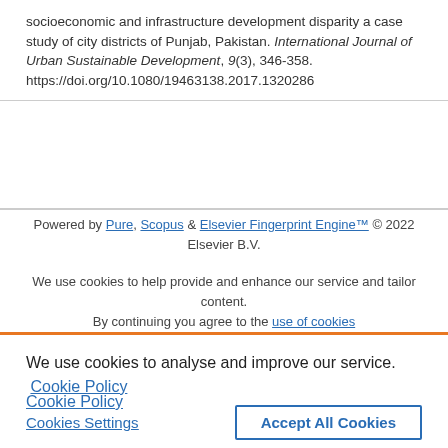socioeconomic and infrastructure development disparity a case study of city districts of Punjab, Pakistan. International Journal of Urban Sustainable Development, 9(3), 346-358. https://doi.org/10.1080/19463138.2017.1320286
Powered by Pure, Scopus & Elsevier Fingerprint Engine™ © 2022 Elsevier B.V.
We use cookies to help provide and enhance our service and tailor content. By continuing you agree to the use of cookies
We use cookies to analyse and improve our service. Cookie Policy
Cookies Settings
Accept All Cookies